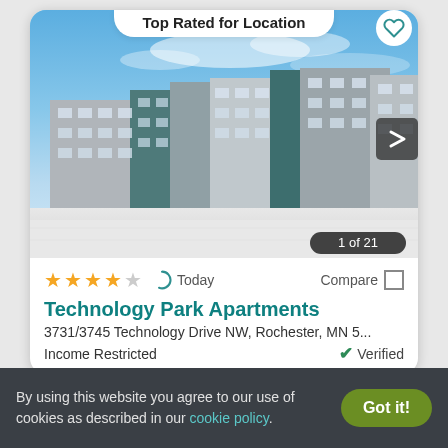Top Rated for Location
[Figure (photo): Exterior photo of Technology Park Apartments — multi-story apartment building with alternating grey and teal-grey facade panels, photographed in winter with snow on the ground and blue sky above. Image counter shows 1 of 21.]
★★★★☆   Today   Compare
Technology Park Apartments
3731/3745 Technology Drive NW, Rochester, MN 5...
Income Restricted   ✓ Verified
By using this website you agree to our use of cookies as described in our cookie policy.